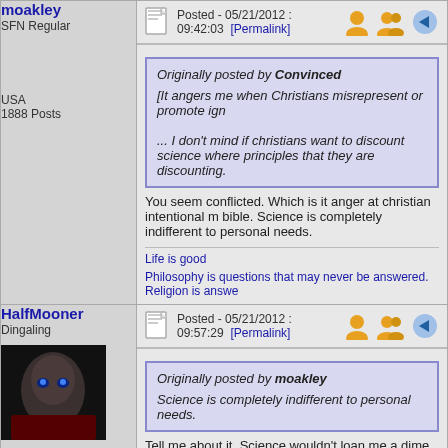moakley
SFN Regular
USA
1888 Posts
Posted - 05/21/2012 : 09:42:03 [Permalink]
Originally posted by Convinced
[It angers me when Christians misrepresent or promote ign...
... I don't mind if christians want to discount science where... principles that they are discounting.
You seem conflicted. Which is it anger at christian intentional m... bible. Science is completely indifferent to personal needs.
Life is good
Philosophy is questions that may never be answered. Religion is answe...
HalfMooner
Dingaling
Philippines
15831 Posts
Posted - 05/21/2012 : 09:57:29 [Permalink]
Originally posted by moakley
Science is completely indifferent to personal needs.
Tell me about it. Science wouldn't loan me a dime when I was d...